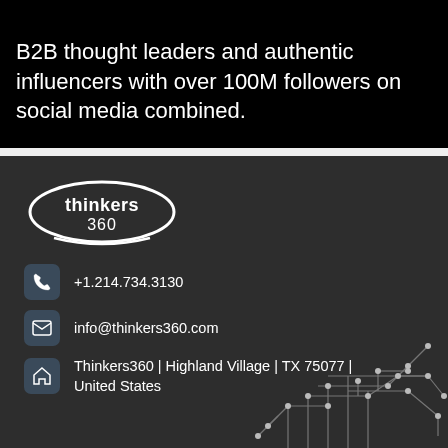B2B thought leaders and authentic influencers with over 100M followers on social media combined.
[Figure (logo): Thinkers360 logo — white oval/ellipse outline with the text 'thinkers 360' inside]
+1.214.734.3130
info@thinkers360.com
Thinkers360 | Highland Village | TX 75077 | United States
[Figure (illustration): Circuit board decorative illustration — white/grey lines and dots forming a circuit pattern in bottom right corner]